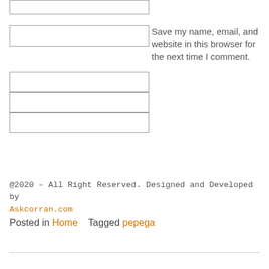[Figure (other): A text input box (form field) at the top of the page]
Save my name, email, and website in this browser for the next time I comment.
[Figure (other): Three stacked text input boxes (form fields)]
@2020 – All Right Reserved. Designed and Developed by Askcorran.com
Posted in Home    Tagged pepega
[Figure (other): A horizontal divider line]